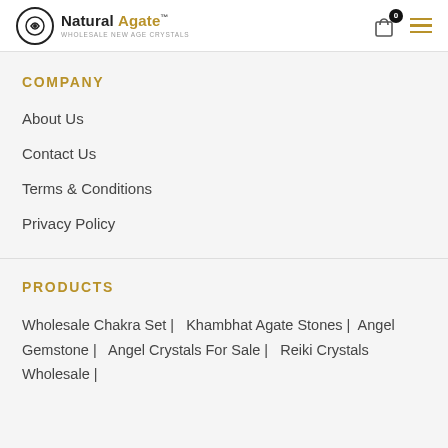Natural Agate™ — Wholesale New Age Crystals — 0 cart items — menu
COMPANY
About Us
Contact Us
Terms & Conditions
Privacy Policy
PRODUCTS
Wholesale Chakra Set | Khambhat Agate Stones | Angel Gemstone | Angel Crystals For Sale | Reiki Crystals Wholesale |